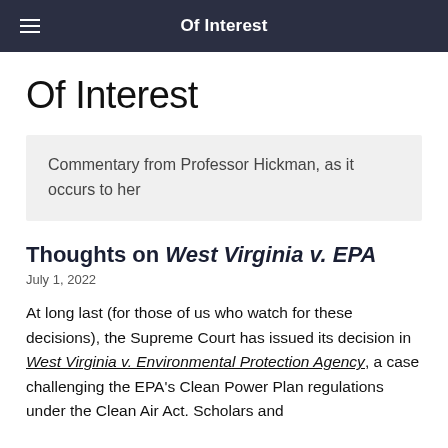Of Interest
Of Interest
Commentary from Professor Hickman, as it occurs to her
Thoughts on West Virginia v. EPA
July 1, 2022
At long last (for those of us who watch for these decisions), the Supreme Court has issued its decision in West Virginia v. Environmental Protection Agency, a case challenging the EPA's Clean Power Plan regulations under the Clean Air Act. Scholars and